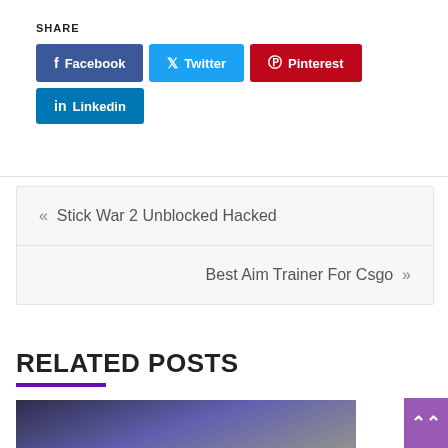SHARE
f Facebook
Twitter
Pinterest
in Linkedin
« Stick War 2 Unblocked Hacked
Best Aim Trainer For Csgo »
RELATED POSTS
[Figure (photo): Thumbnail image of a room with framed artwork on a blue/purple wall]